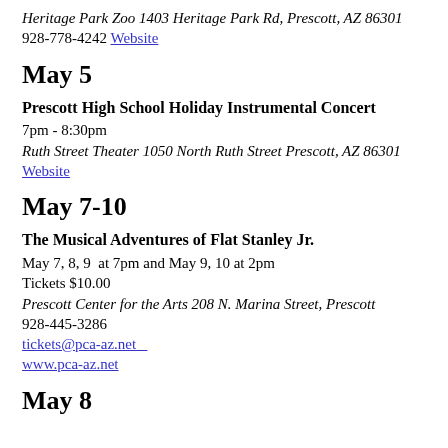Heritage Park Zoo 1403 Heritage Park Rd, Prescott, AZ 86301
928-778-4242 Website
May 5
Prescott High School Holiday Instrumental Concert
7pm - 8:30pm
Ruth Street Theater 1050 North Ruth Street Prescott, AZ 86301
Website
May 7-10
The Musical Adventures of Flat Stanley Jr.
May 7, 8, 9  at 7pm and May 9, 10 at 2pm
Tickets $10.00
Prescott Center for the Arts 208 N. Marina Street, Prescott
928-445-3286
tickets@pca-az.net
www.pca-az.net
May 8